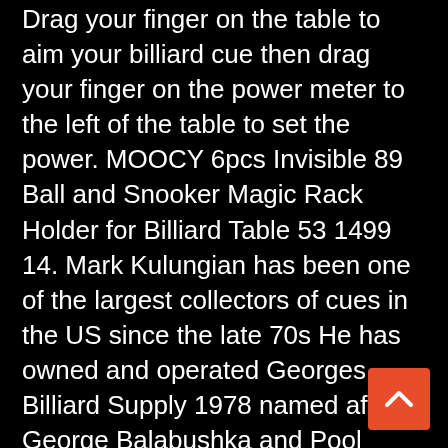Drag your finger on the table to aim your billiard cue then drag your finger on the power meter to the left of the table to set the power. MOOCY 6pcs Invisible 89 Ball and Snooker Magic Rack Holder for Billiard Table 53 1499 14. Mark Kulungian has been one of the largest collectors of cues in the US since the late 70s He has owned and operated Georges Billiard Supply 1978 named after George Balabushka and Pool Table Magic currently.
ELVIS THE MAGIC MAN. He is also a noted table mechanic who assembles and recovers between. Your goal is to sink all the striped or solid balls and finally the 8 ball.
Cuesports Magic Rack Winner Cuestix Triangle and Diamond Shaped Racks. Mark Kulungian has been of the largest collectors of cues in the US since the 70s He has owned and operated Georges Billiard Supply
[Figure (other): Orange scroll-to-top button with upward chevron arrow, positioned at bottom right corner]